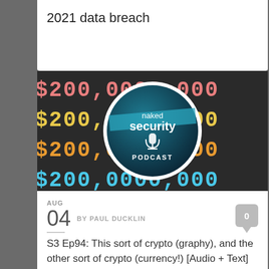2021 data breach
[Figure (illustration): Naked Security Podcast logo circle overlaid on dark background with rows of $200,000,000 text in pink, yellow, orange, and cyan colors]
AUG
04 BY PAUL DUCKLIN
S3 Ep94: This sort of crypto (graphy), and the other sort of crypto (currency!) [Audio + Text]